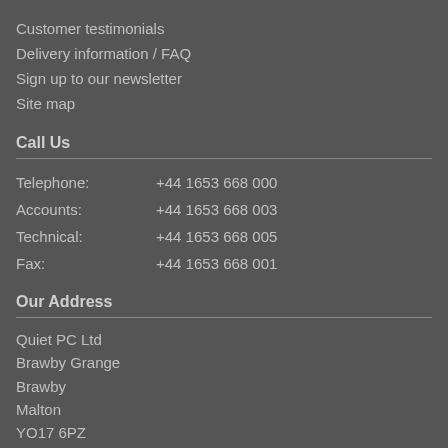Customer testimonials
Delivery information / FAQ
Sign up to our newsletter
Site map
Call Us
| Label | Number |
| --- | --- |
| Telephone: | +44 1653 668 000 |
| Accounts: | +44 1653 668 003 |
| Technical: | +44 1653 668 005 |
| Fax: | +44 1653 668 001 |
Our Address
Quiet PC Ltd
Brawby Grange
Brawby
Malton
YO17 6PZ
United Kingdom